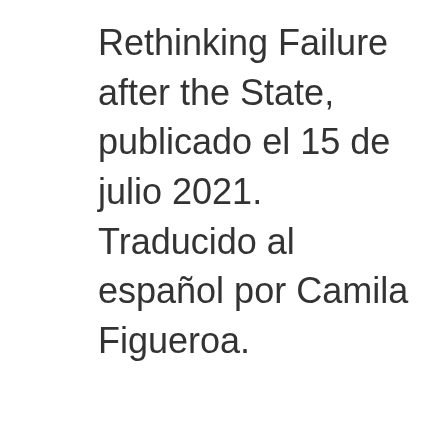Rethinking Failure after the State, publicado el 15 de julio 2021. Traducido al español por Camila Figueroa.